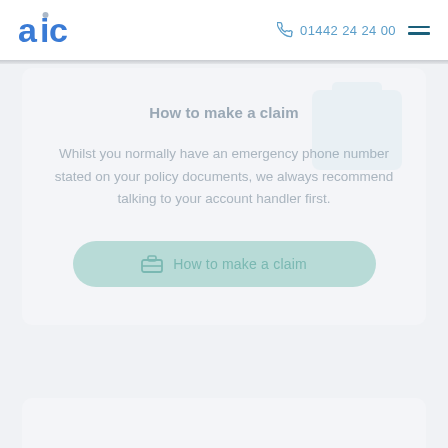aic  01442 24 24 00
How to make a claim
Whilst you normally have an emergency phone number stated on your policy documents, we always recommend talking to your account handler first.
How to make a claim